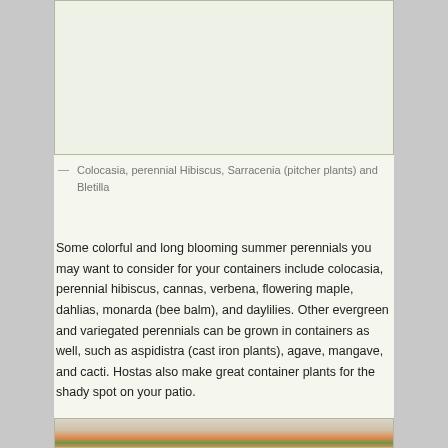[Figure (photo): Photo of Colocasia, perennial Hibiscus, Sarracenia (pitcher plants) and Bletilla in containers]
— Colocasia, perennial Hibiscus, Sarracenia (pitcher plants) and Bletilla
Some colorful and long blooming summer perennials you may want to consider for your containers include colocasia, perennial hibiscus, cannas, verbena, flowering maple, dahlias, monarda (bee balm), and daylilies. Other evergreen and variegated perennials can be grown in containers as well, such as aspidistra (cast iron plants), agave, mangave, and cacti. Hostas also make great container plants for the shady spot on your patio.
[Figure (photo): Photo of a container plant with orange flower and green foliage on a patio surface]